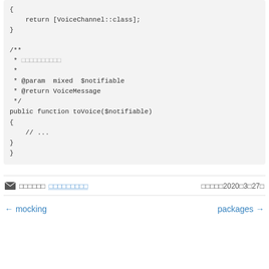{
    return [VoiceChannel::class];
}

/**
 * □□□□□□□□□□
 *
 * @param  mixed  $notifiable
 * @return VoiceMessage
 */
public function toVoice($notifiable)
{
    // ...
}
}
□□□□□□ □□□□□□□□□  □□□□□2020□3□27□
← mocking    packages →